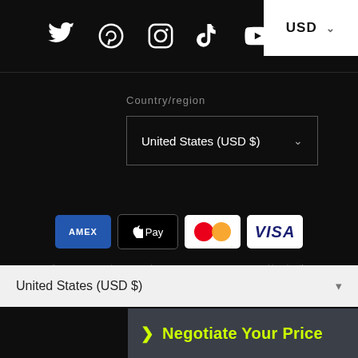[Figure (screenshot): Social media icons (Twitter, Pinterest, Instagram, TikTok, YouTube) in white on dark background with USD currency selector button in white]
Country/region
[Figure (screenshot): Dropdown selector showing United States (USD $) with chevron]
[Figure (screenshot): Payment icons: American Express (AMEX), Apple Pay, Mastercard, Visa]
© 2022, Omega Vintage Watches - WATCH INVESTING Powered by Shopify
[Figure (screenshot): Bottom dropdown showing United States (USD $) and Negotiate Your Price button]
United States (USD $)
➤ Negotiate Your Price